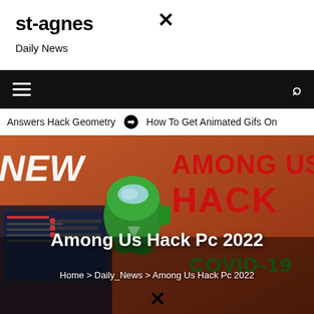st-agnes
Daily News
[Figure (screenshot): Navigation bar with hamburger menu and search icon on black background]
Answers Hack Geometry   ⊙ How To Get Animated Gifs On
[Figure (photo): Among Us Hack Pc 2022 promotional image with green Among Us character on orange/red background with COVID-19 text]
Among Us Hack Pc 2022
Home > Daily_News > Among Us Hack Pc 2022